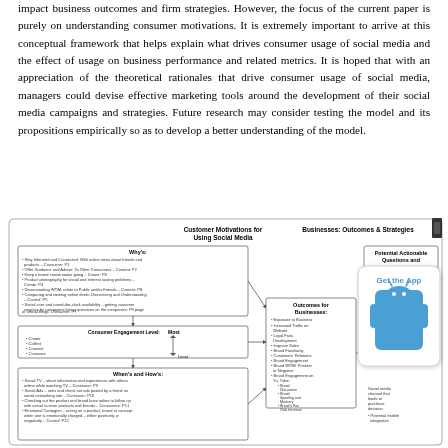impact business outcomes and firm strategies. However, the focus of the current paper is purely on understanding consumer motivations. It is extremely important to arrive at this conceptual framework that helps explain what drives consumer usage of social media and the effect of usage on business performance and related metrics. It is hoped that with an appreciation of the theoretical rationales that drive consumer usage of social media, managers could devise effective marketing tools around the development of their social media campaigns and strategies. Future research may consider testing the model and its propositions empirically so as to develop a better understanding of the model.
[Figure (flowchart): Flowchart titled 'Customer Motivations for Using Social Media' on the left with boxes for Why's, Consumer Engagement Level, and When's and How's; and 'Businesses: Outcomes & Strategies' on the right with Outcomes for Businesses and Potential Actionable Questions and boxes. Arrows connect the left side to the right side. A 'Get the App' overlay appears in the bottom-right corner.]